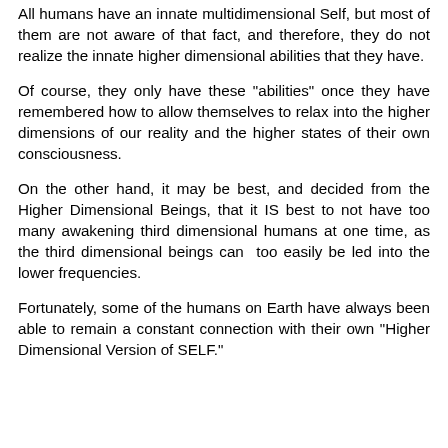All humans have an innate multidimensional Self, but most of them are not aware of that fact, and therefore, they do not realize the innate higher dimensional abilities that they have.
Of course, they only have these "abilities" once they have remembered how to allow themselves to relax into the higher dimensions of our reality and the higher states of their own consciousness.
On the other hand, it may be best, and decided from the Higher Dimensional Beings, that it IS best to not have too many awakening third dimensional humans at one time, as the third dimensional beings can  too easily be led into the lower frequencies.
Fortunately, some of the humans on Earth have always been able to remain a constant connection with their own "Higher Dimensional Version of SELF."